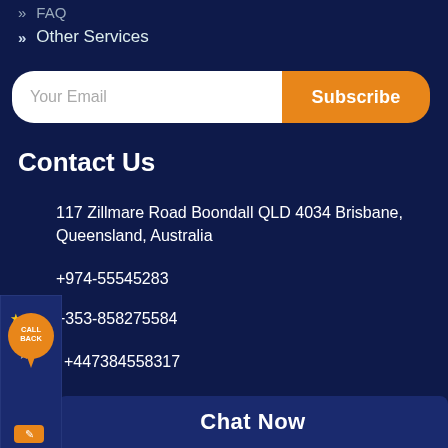» FAQ
» Other Services
Your Email [input field] Subscribe [button]
Contact Us
117 Zillmare Road Boondall QLD 4034 Brisbane, Queensland, Australia
+974-55545283
+353-858275584
+447384558317
+61-730401098
contact@besta...
Chat Now